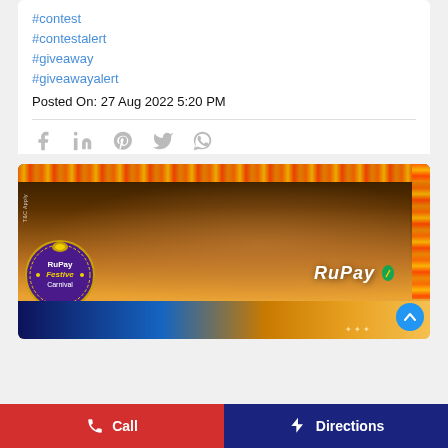#contest
#contestalert
#giveaway
#giveawayalert
Posted On: 27 Aug 2022 5:20 PM
[Figure (photo): RuPay Festive Carnival promotional banner showing a family in traditional Indian attire celebrating a festival with marigold garlands in background. RuPay logo visible. Festive Carnival badge/stamp on the left.]
Call | Directions